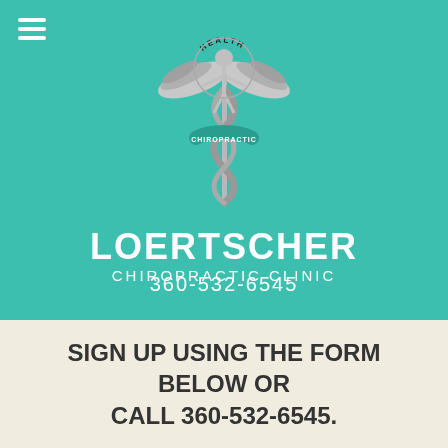[Figure (logo): Loertscher Chiropractic Clinic logo: a silver caduceus-style figure with wings and a serpent, with 'HEALTH' at the top and 'CHIROPRACTIC' on a ribbon wrapping the staff, on a teal background]
LOERTSCHER
CHIROPRACTIC CLINIC
360-532-6545
SIGN UP USING THE FORM BELOW OR CALL 360-532-6545.